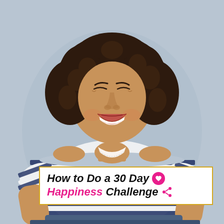[Figure (photo): A smiling young Black woman with curly hair, wearing a navy and white striped crop t-shirt, posed with hands on hips against a light gray-blue background.]
How to Do a 30 Day Happiness Challenge